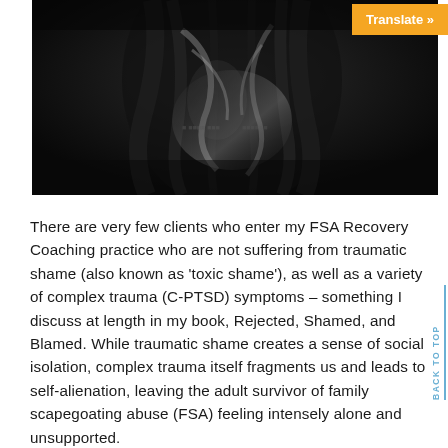[Figure (photo): Dark, moody black and white photograph of a person with long hair, shot from behind or at an angle, with dramatic lighting creating reflections or distortions.]
Translate »
There are very few clients who enter my FSA Recovery Coaching practice who are not suffering from traumatic shame (also known as 'toxic shame'), as well as a variety of complex trauma (C-PTSD) symptoms – something I discuss at length in my book, Rejected, Shamed, and Blamed. While traumatic shame creates a sense of social isolation, complex trauma itself fragments us and leads to self-alienation, leaving the adult survivor of family scapegoating abuse (FSA) feeling intensely alone and unsupported.